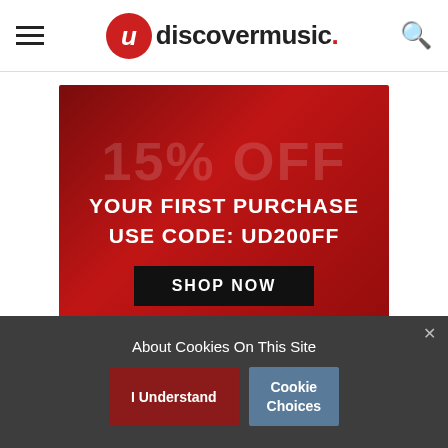uDiscover Music - navigation bar with hamburger menu and search icon
[Figure (infographic): Red promotional banner ad: 'YOUR FIRST PURCHASE USE CODE: UD200FF SHOP NOW']
[Figure (logo): uDiscover Music footer logo on dark background]
[Figure (infographic): Row of red circular social media icons: Facebook, Twitter, Instagram, YouTube, Spotify, and others]
About Cookies On This Site
I Understand
Cookie Choices